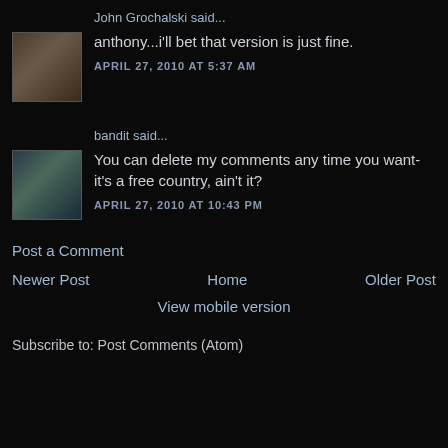John Grochalski said...
anthony...i'll bet that version is just fine.
APRIL 27, 2010 AT 5:37 AM
bandit said...
You can delete my comments any time you want-it's a free country, ain't it?
APRIL 27, 2010 AT 10:43 PM
Post a Comment
Newer Post
Home
Older Post
View mobile version
Subscribe to: Post Comments (Atom)